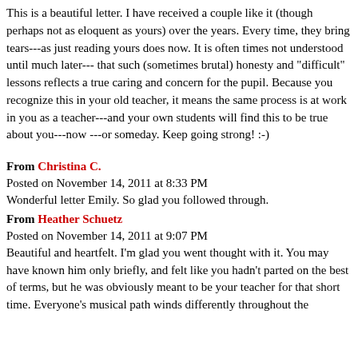This is a beautiful letter. I have received a couple like it (though perhaps not as eloquent as yours) over the years. Every time, they bring tears---as just reading yours does now. It is often times not understood until much later--- that such (sometimes brutal) honesty and "difficult" lessons reflects a true caring and concern for the pupil. Because you recognize this in your old teacher, it means the same process is at work in you as a teacher---and your own students will find this to be true about you---now ---or someday. Keep going strong! :-)
From Christina C.
Posted on November 14, 2011 at 8:33 PM
Wonderful letter Emily. So glad you followed through.
From Heather Schuetz
Posted on November 14, 2011 at 9:07 PM
Beautiful and heartfelt. I'm glad you went thought with it. You may have known him only briefly, and felt like you hadn't parted on the best of terms, but he was obviously meant to be your teacher for that short time. Everyone's musical path winds differently throughout the